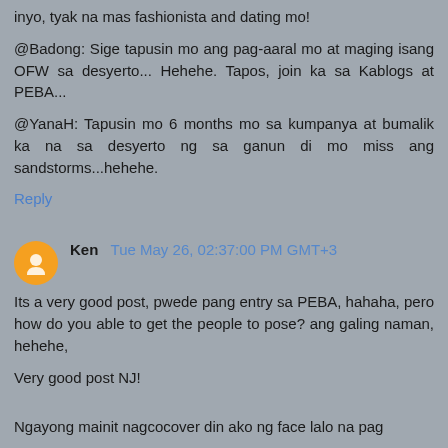inyo, tyak na mas fashionista and dating mo!
@Badong: Sige tapusin mo ang pag-aaral mo at maging isang OFW sa desyerto... Hehehe. Tapos, join ka sa Kablogs at PEBA...
@YanaH: Tapusin mo 6 months mo sa kumpanya at bumalik ka na sa desyerto ng sa ganun di mo miss ang sandstorms...hehehe.
Reply
Ken  Tue May 26, 02:37:00 PM GMT+3
Its a very good post, pwede pang entry sa PEBA, hahaha, pero how do you able to get the people to pose? ang galing naman, hehehe,
Very good post NJ!
Ngayong mainit nagcocover din ako ng face lalo na pag